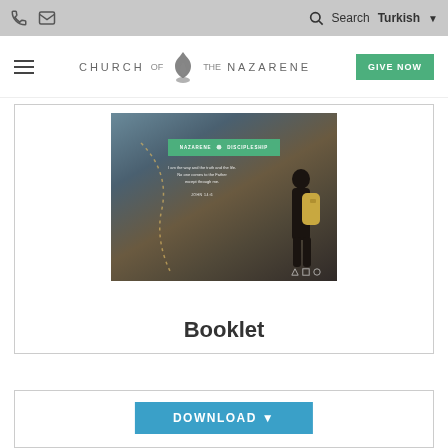Church of the Nazarene website header with phone icon, mail icon, Search, and Turkish language selector
[Figure (screenshot): Church of the Nazarene website logo bar with hamburger menu, Church of the Nazarene logo with flame icon, and green GIVE NOW button]
[Figure (screenshot): Screenshot of Nazarene Discipleship website page with green header bar, mountain background, a person with a backpack, and a Bible verse text overlay]
Booklet
DOWNLOAD ▼